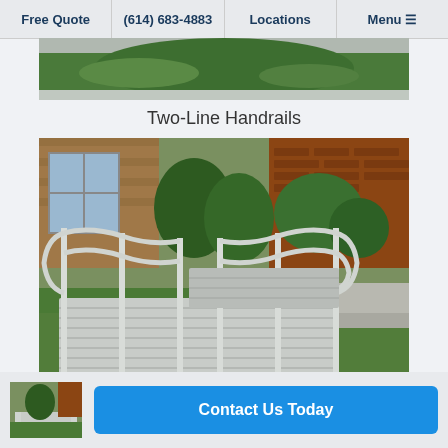Free Quote | (614) 683-4883 | Locations | Menu
[Figure (photo): Partial top photo showing a green grassy hill/landscape with a ramp visible at the bottom edge.]
Two-Line Handrails
[Figure (photo): Aluminum modular wheelchair ramp with two-line handrails installed on a green lawn in front of a brick house with shrubs and trees in the background.]
[Figure (photo): Small thumbnail image of a ramp structure.]
Contact Us Today